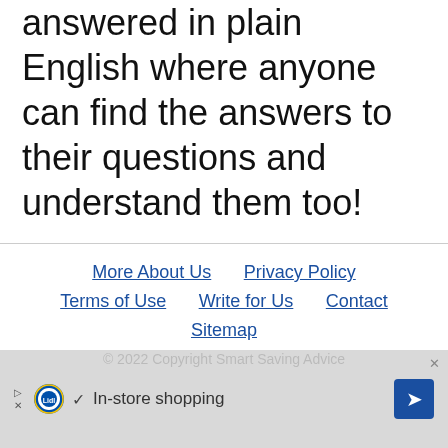answered in plain English where anyone can find the answers to their questions and understand them too!
More About Us  Privacy Policy  Terms of Use  Write for Us  Contact  Sitemap  © 2022 Copyright Smart Saving Advice
[Figure (other): Lidl advertisement banner showing in-store shopping with Lidl logo, checkmark, text 'In-store shopping', navigation arrow, play/close controls]